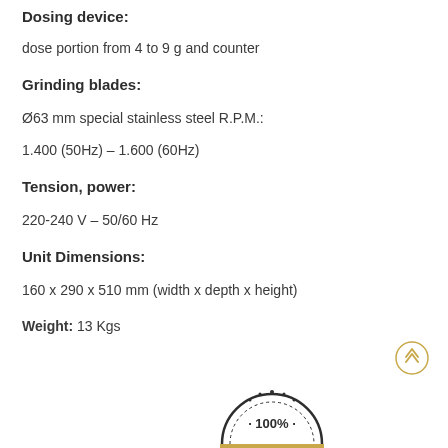Dosing device:
dose portion from 4 to 9 g and counter
Grinding blades:
Ø63 mm special stainless steel R.P.M.:
1.400 (50Hz) – 1.600 (60Hz)
Tension, power:
220-240 V – 50/60 Hz
Unit Dimensions:
160 x 290 x 510 mm (width x depth x height)
Weight: 13 Kgs
[Figure (illustration): 100% badge/seal icon, semicircle with dotted border and '100%' text]